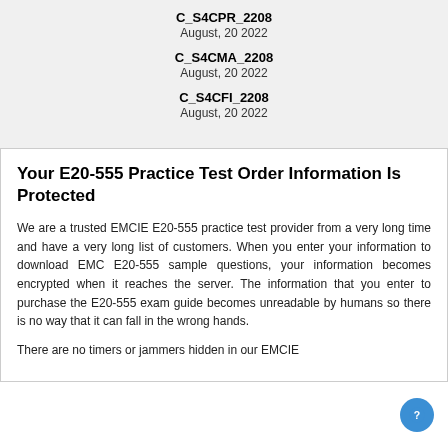C_S4CPR_2208
August, 20 2022
C_S4CMA_2208
August, 20 2022
C_S4CFI_2208
August, 20 2022
Your E20-555 Practice Test Order Information Is Protected
We are a trusted EMCIE E20-555 practice test provider from a very long time and have a very long list of customers. When you enter your information to download EMC E20-555 sample questions, your information becomes encrypted when it reaches the server. The information that you enter to purchase the E20-555 exam guide becomes unreadable by humans so there is no way that it can fall in the wrong hands.
There are no timers or jammers hidden in our EMCIE